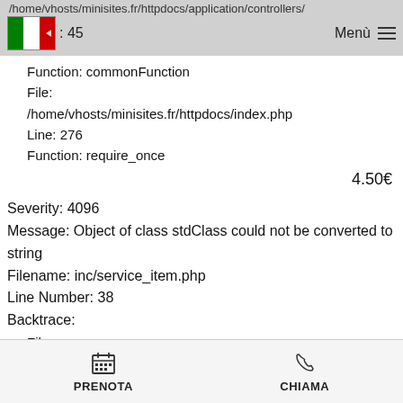/home/vhosts/minisites.fr/httpdocs/application/controllers/
: 45
Function: commonFunction
File:
/home/vhosts/minisites.fr/httpdocs/index.php
Line: 276
Function: require_once
4.50€
Severity: 4096
Message: Object of class stdClass could not be converted to string
Filename: inc/service_item.php
Line Number: 38
Backtrace:
File:
/home/vhosts/minisites.fr/httpdocs/application/views/hom
Line: 38
PRENOTA   CHIAMA